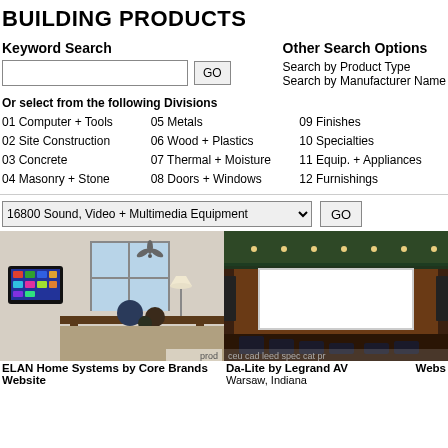BUILDING PRODUCTS
Keyword Search
Other Search Options
Search by Product Type
Search by Manufacturer Name
Or select from the following Divisions
01 Computer + Tools
02 Site Construction
03 Concrete
04 Masonry + Stone
05 Metals
06 Wood + Plastics
07 Thermal + Moisture
08 Doors + Windows
09 Finishes
10 Specialties
11 Equip. + Appliances
12 Furnishings
16800 Sound, Video + Multimedia Equipment
[Figure (photo): ELAN Home Systems touchscreen controller mounted on wall in living room]
prod
ELAN Home Systems by Core Brands Website
Petaluma, California
[Figure (photo): Da-Lite by Legrand AV home theater room with projection screen]
ceu  cad  leed  spec  cat  pr
Da-Lite by Legrand AV
Warsaw, Indiana
Webs